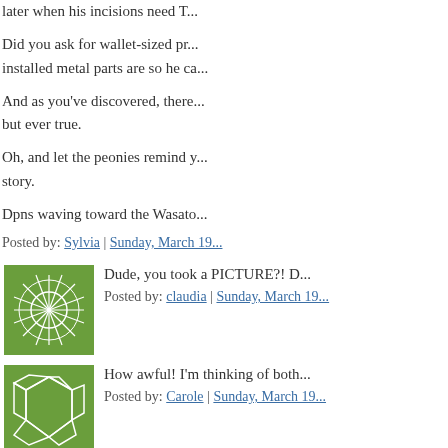later when his incisions need T...
Did you ask for wallet-sized pri... installed metal parts are so he ca...
And as you've discovered, there... but ever true.
Oh, and let the peonies remind y... story.
Dpns waving toward the Wasato...
Posted by: Sylvia | Sunday, March 19...
[Figure (illustration): Green square avatar icon with starburst/snowflake pattern]
Dude, you took a PICTURE?! D...
Posted by: claudia | Sunday, March 19...
[Figure (illustration): Green square avatar icon with mosaic/honeycomb pattern]
How awful! I'm thinking of both...
Posted by: Carole | Sunday, March 19...
[Figure (illustration): Light blue square avatar icon with abstract web/crack pattern]
Warm hugs and healing thought... appreciate a Florida sunshine ca...
Posted by: SpindleRose | Sunday, M...